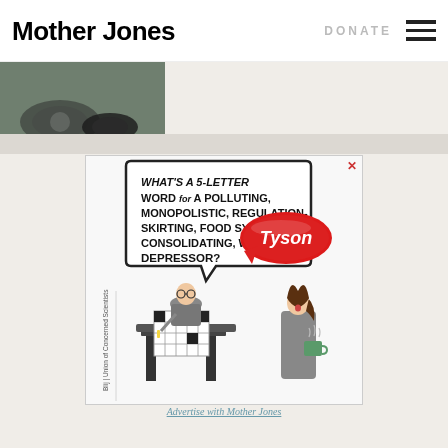Mother Jones | DONATE
[Figure (photo): Partial photo strip showing dark image with motorcycle/vehicle visible at top left]
[Figure (illustration): Political cartoon advertisement. A person doing a crossword puzzle asks 'WHAT'S A 5-LETTER WORD FOR A POLLUTING, MONOPOLISTIC, REGULATION-SKIRTING, FOOD SYSTEM CONSOLIDATING, WAGE DEPRESSOR?' with a speech bubble shaped like the Tyson logo showing 'Tyson'. A woman standing nearby holding a steaming mug looks shocked. Attribution: Blij | Union of Concerned Scientists.]
Advertise with Mother Jones